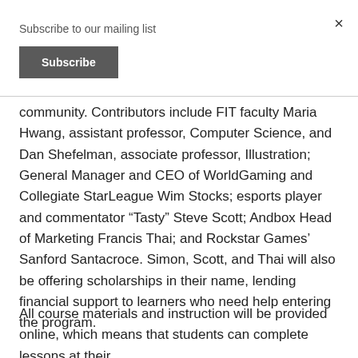Subscribe to our mailing list
Subscribe
community. Contributors include FIT faculty Maria Hwang, assistant professor, Computer Science, and Dan Shefelman, associate professor, Illustration; General Manager and CEO of WorldGaming and Collegiate StarLeague Wim Stocks; esports player and commentator “Tasty” Steve Scott; Andbox Head of Marketing Francis Thai; and Rockstar Games’ Sanford Santacroce. Simon, Scott, and Thai will also be offering scholarships in their name, lending financial support to learners who need help entering the program.
All course materials and instruction will be provided online, which means that students can complete lessons at their